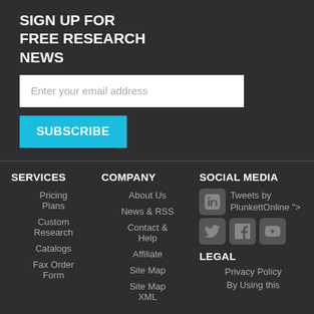SIGN UP FOR FREE RESEARCH NEWS
[Figure (screenshot): Email input field with placeholder 'Enter your email address']
[Figure (screenshot): SUBSCRIBE button in cyan/blue color]
SERVICES
Pricing Plans
Custom Research
Catalogs
Fax Order Form
COMPANY
About Us
News & RSS
Contact & Help
Affiliate
Site Map
Site Map XML
SOCIAL MEDIA
Tweets by PlunkettOnline ">
LEGAL
Privacy Policy
By Using this